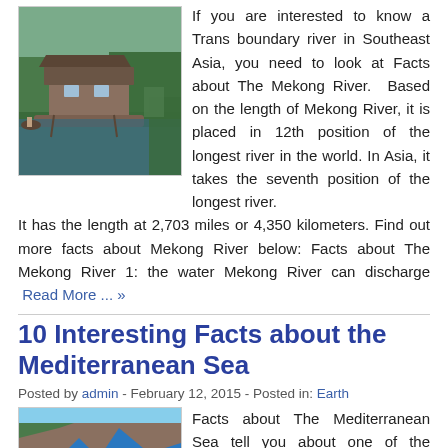[Figure (photo): Floating houses on a river with green vegetation in background - Mekong River scene]
If you are interested to know a Trans boundary river in Southeast Asia, you need to look at Facts about The Mekong River. Based on the length of Mekong River, it is placed in 12th position of the longest river in the world. In Asia, it takes the seventh position of the longest river. It has the length at 2,703 miles or 4,350 kilometers. Find out more facts about Mekong River below: Facts about The Mekong River 1: the water Mekong River can discharge  Read More ... »
10 Interesting Facts about the Mediterranean Sea
Posted by admin - February 12, 2015 - Posted in: Earth
[Figure (photo): Aerial view of Mediterranean Sea coastline with blue water and rocky cliffs]
Facts about The Mediterranean Sea tell you about one of the famous seas in the world. Mediterranean Sea is a good place for those who want to